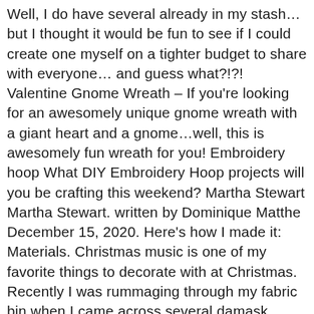Well, I do have several already in my stash… but I thought it would be fun to see if I could create one myself on a tighter budget to share with everyone… and guess what?!?! Valentine Gnome Wreath – If you're looking for an awesomely unique gnome wreath with a giant heart and a gnome…well, this is awesomely fun wreath for you! Embroidery hoop What DIY Embroidery Hoop projects will you be crafting this weekend? Martha Stewart Martha Stewart. written by Dominique Matthe December 15, 2020. Here's how I made it: Materials. Christmas music is one of my favorite things to decorate with at Christmas. Recently I was rummaging through my fabric bin when I came across several damask organza table runners. I have no idea where the times goes but it doesn't seem like an entire year since I had the house decorated for Christmas. This post includes over 20 ideas from home decor, wall art, and even a chandelier. This year I decided to offer the make and take class again, but I